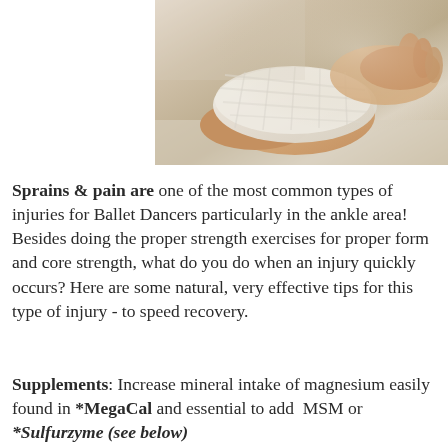[Figure (photo): Close-up photo of a foot/ankle being wrapped with white bandage/gauze, hands visible wrapping the bandage around the ankle area]
Sprains & pain are one of the most common types of injuries for Ballet Dancers particularly in the ankle area! Besides doing the proper strength exercises for proper form and core strength, what do you do when an injury quickly occurs? Here are some natural, very effective tips for this type of injury - to speed recovery.
Supplements: Increase mineral intake of magnesium easily found in *MegaCal and essential to add  MSM or *Sulfurzyme (see below)